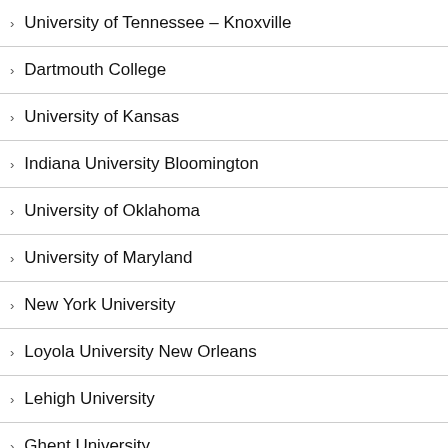University of Tennessee – Knoxville
Dartmouth College
University of Kansas
Indiana University Bloomington
University of Oklahoma
University of Maryland
New York University
Loyola University New Orleans
Lehigh University
Ghent University
Georgetown University
University of Toronto Scarborough
Washington State University